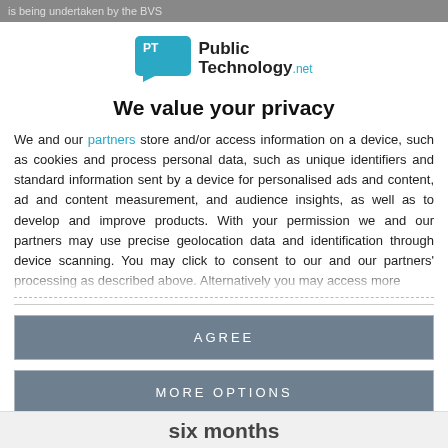is being undertaken by the BVS
[Figure (logo): PublicTechnology.net logo with teal PT speech bubble icon]
We value your privacy
We and our partners store and/or access information on a device, such as cookies and process personal data, such as unique identifiers and standard information sent by a device for personalised ads and content, ad and content measurement, and audience insights, as well as to develop and improve products. With your permission we and our partners may use precise geolocation data and identification through device scanning. You may click to consent to our and our partners' processing as described above. Alternatively you may access more
AGREE
MORE OPTIONS
six months